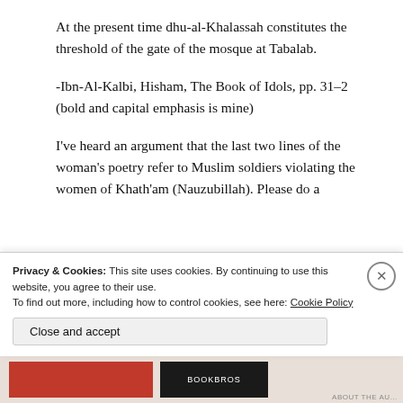At the present time dhu-al-Khalassah constitutes the threshold of the gate of the mosque at Tabalab.
-Ibn-Al-Kalbi, Hisham, The Book of Idols, pp. 31–2 (bold and capital emphasis is mine)
I've heard an argument that the last two lines of the woman's poetry refer to Muslim soldiers violating the women of Khath'am (Nauzubillah). Please do a
Privacy & Cookies: This site uses cookies. By continuing to use this website, you agree to their use.
To find out more, including how to control cookies, see here: Cookie Policy
Close and accept